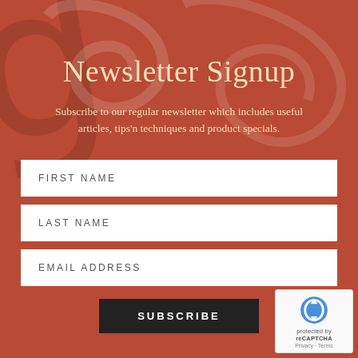Newsletter Signup
Subscribe to our regular newsletter which includes useful articles, tips'n techniques and product specials.
FIRST NAME
LAST NAME
EMAIL ADDRESS
SUBSCRIBE
[Figure (logo): reCAPTCHA badge with arrows icon, Privacy and Terms links]